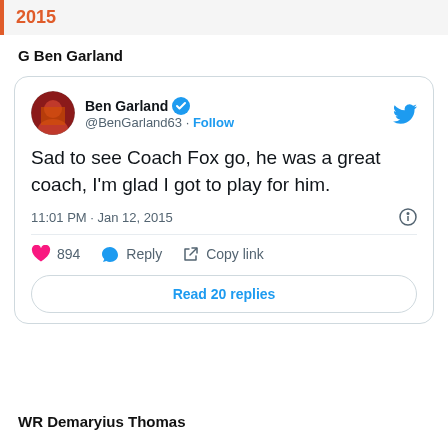2015
G Ben Garland
[Figure (screenshot): Embedded tweet from Ben Garland (@BenGarland63) verified account. Tweet text: 'Sad to see Coach Fox go, he was a great coach, I'm glad I got to play for him.' Posted at 11:01 PM · Jan 12, 2015. Engagement: 894 likes. Actions: Reply, Copy link. Read 20 replies button.]
WR Demaryius Thomas